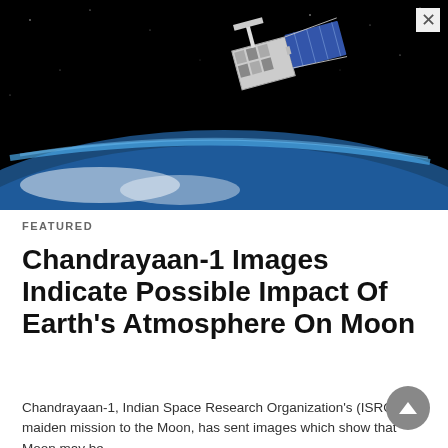[Figure (photo): Photograph of a satellite in orbit above Earth, with solar panels extended and Earth's blue horizon visible below against a black starry space background.]
FEATURED
Chandrayaan-1 Images Indicate Possible Impact Of Earth's Atmosphere On Moon
Chandrayaan-1, Indian Space Research Organization's (ISRO) maiden mission to the Moon, has sent images which show that Moon may be...